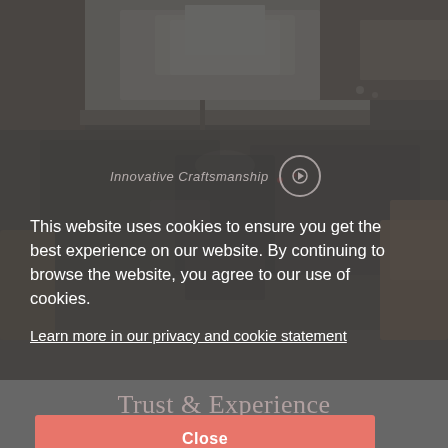[Figure (photo): Luxury yacht interior cockpit view with dark leather upholstery, panoramic windows with bright sky, brown wood accents]
Innovative Craftsmanship
This website uses cookies to ensure you get the best experience on our website. By continuing to browse the website, you agree to our use of cookies.
Learn more in our privacy and cookie statement
Trust & Experience
Close
Our commitment to technological research and development, coupled with the finest designers and master craftsmen, ensures that a Dominator yacht is indeed a unique masterpiece. This drive for